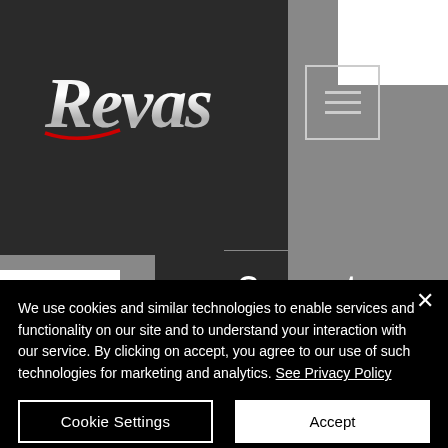[Figure (logo): Revas automotive logo in silver/chrome script lettering with red accent on dark background, with hamburger menu icon button to the right]
Connect
REVAS - Putting great value in creating and maintaining a Trusted Partnership.
Links
We use cookies and similar technologies to enable services and functionality on our site and to understand your interaction with our service. By clicking on accept, you agree to our use of such technologies for marketing and analytics. See Privacy Policy
Cookie Settings
Accept